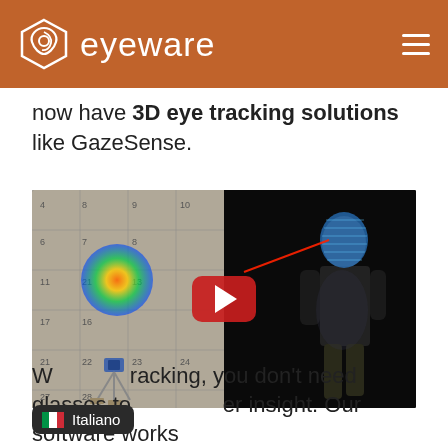eyeware
now have 3D eye tracking solutions like GazeSense.
[Figure (screenshot): Video thumbnail showing a split scene: left side has a numbered wall with a colored heatmap circle (blue/yellow/red target) and a small camera device on a tripod; right side shows a person standing against black background with blue depth scan overlay on face and a red gaze ray line. A red YouTube play button is centered over the video.]
With eye tracking, you don't need glasses to get deeper insight. Our software works